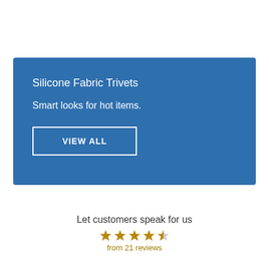[Figure (infographic): Blue banner with text 'Silicone Fabric Trivets', tagline 'Smart looks for hot items.', and a 'VIEW ALL' button with white border]
Let customers speak for us
[Figure (infographic): 4 full gold stars and 1 half gold star rating]
from 21 reviews